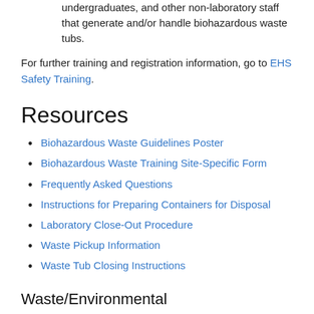undergraduates, and other non-laboratory staff that generate and/or handle biohazardous waste tubs.
For further training and registration information, go to EHS Safety Training.
Resources
Biohazardous Waste Guidelines Poster
Biohazardous Waste Training Site-Specific Form
Frequently Asked Questions
Instructions for Preparing Containers for Disposal
Laboratory Close-Out Procedure
Waste Pickup Information
Waste Tub Closing Instructions
Waste/Environmental
Chemical Waste